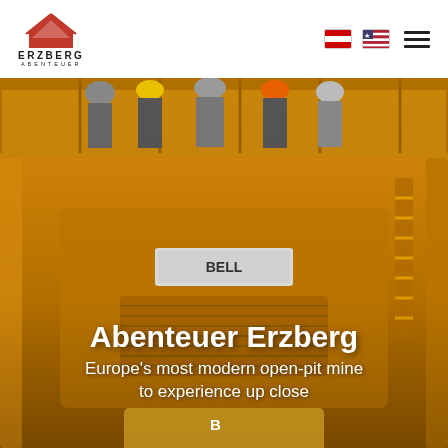[Figure (logo): Erzberg Abenteuer logo with red mountain/triangle shape and text ERZBERG ABENTEUER]
[Figure (photo): Large yellow mining dump truck with people standing on top platform wearing hard hats; text overlays show title and subtitle on the hero image]
Abenteuer Erzberg
Europe's most modern open-pit mine to experience up close